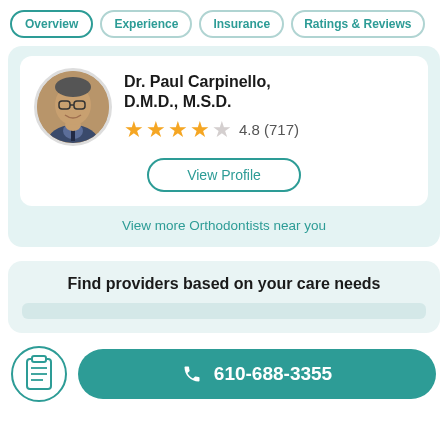Overview | Experience | Insurance | Ratings & Reviews
Dr. Paul Carpinello, D.M.D., M.S.D.
4.8 (717)
View Profile
View more Orthodontists near you
Find providers based on your care needs
610-688-3355